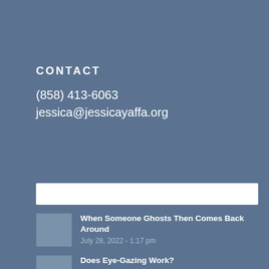CONTACT
(858) 413-6063
jessica@jessicayaffa.org
[Figure (other): White search bar input field]
When Someone Ghosts Then Comes Back Around
July 28, 2022 - 1:17 pm
Does Eye-Gazing Work?
July 15, 2022 - 3:50 pm
Stonewalling: From the Cold Shoulder to a Warm One